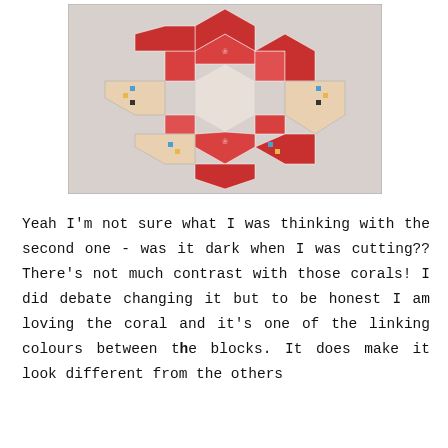[Figure (photo): A hexagon quilt block in progress made with coral/red and white patterned fabrics featuring floral designs, arranged in a wreath-like circular pattern. Some multicolored patterned fabric pieces are visible at the edges. The block is placed on a white background.]
Yeah I'm not sure what I was thinking with the second one - was it dark when I was cutting?? There's not much contrast with those corals! I did debate changing it but to be honest I am loving the coral and it's one of the linking colours between the blocks. It does make it look different from the others